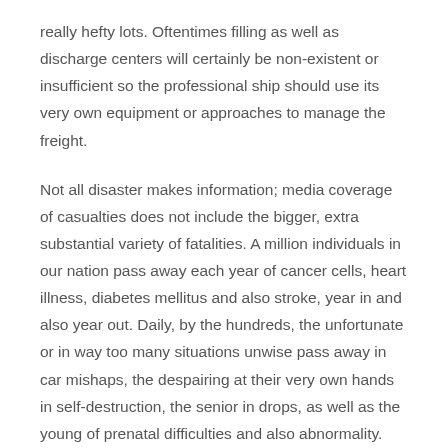really hefty lots. Oftentimes filling as well as discharge centers will certainly be non-existent or insufficient so the professional ship should use its very own equipment or approaches to manage the freight.
Not all disaster makes information; media coverage of casualties does not include the bigger, extra substantial variety of fatalities. A million individuals in our nation pass away each year of cancer cells, heart illness, diabetes mellitus and also stroke, year in and also year out. Daily, by the hundreds, the unfortunate or in way too many situations unwise pass away in car mishaps, the despairing at their very own hands in self-destruction, the senior in drops, as well as the young of prenatal difficulties and also abnormality.
Obviously, in order to enter the footwear of such elite as well as skilled people, you will certainly require to have the technological abilities required to run hefty devices. This is where a reliable training program might verify to be tremendously practical. A strong